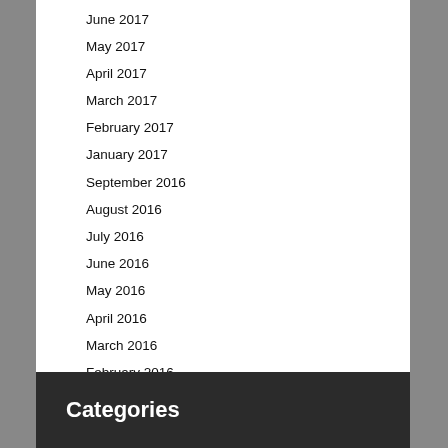June 2017
May 2017
April 2017
March 2017
February 2017
January 2017
September 2016
August 2016
July 2016
June 2016
May 2016
April 2016
March 2016
February 2016
January 2016
Categories